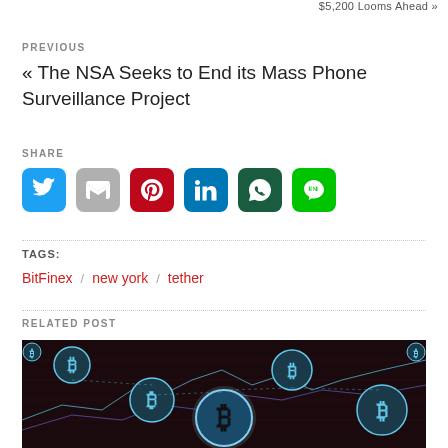$5,200 Looms Ahead »
PREVIOUS
« The NSA Seeks to End its Mass Phone Surveillance Project
SHARE
[Figure (other): Social share buttons: Twitter, Gmail, Pinterest, LinkedIn, WhatsApp, Line]
TAGS: BitFinex / new york / tether
RELATED POST
[Figure (photo): Cryptocurrency / Bitcoin themed image with glowing Bitcoin symbols on a dark background with chart lines]